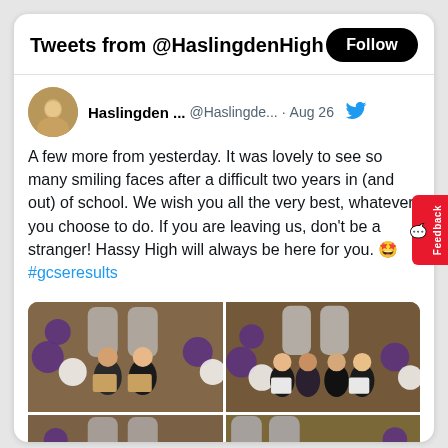Tweets from @HaslingdenHigh
Haslingden ... @Haslingde... · Aug 26
A few more from yesterday. It was lovely to see so many smiling faces after a difficult two years in (and out) of school. We wish you all the very best, whatever you choose to do. If you are leaving us, don't be a stranger! Hassy High will always be here for you. 🤩
#gcseresults
[Figure (photo): Four photos arranged in a 2x2 grid showing students holding envelopes with GCSE results, posing in front of decorative purple and silver balloons and number balloons in a school hall.]